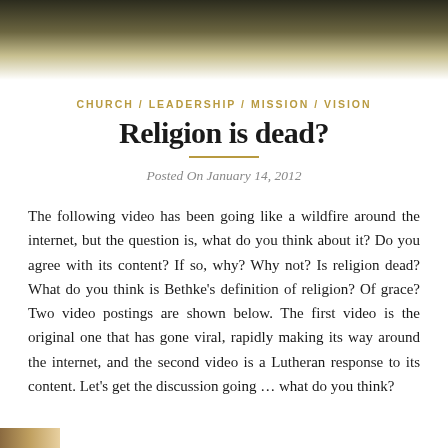[Figure (photo): Dark hero image with gradient fading from dark olive/black at top to cream/white at bottom]
CHURCH / LEADERSHIP / MISSION / VISION
Religion is dead?
Posted On January 14, 2012
The following video has been going like a wildfire around the internet, but the question is, what do you think about it?  Do you agree with its content?  If so, why?  Why not?  Is religion dead?  What do you think is Bethke's definition of religion?  Of grace?  Two video postings are shown below.  The first video is the original one that has gone viral, rapidly making its way around the internet, and the second video is a Lutheran response to its content.  Let's get the discussion going … what do you think?